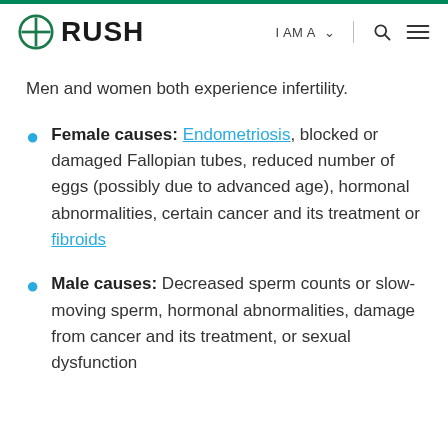RUSH | I AM A | [search] [menu]
Men and women both experience infertility.
Female causes: Endometriosis, blocked or damaged Fallopian tubes, reduced number of eggs (possibly due to advanced age), hormonal abnormalities, certain cancer and its treatment or fibroids
Male causes: Decreased sperm counts or slow-moving sperm, hormonal abnormalities, damage from cancer and its treatment, or sexual dysfunction